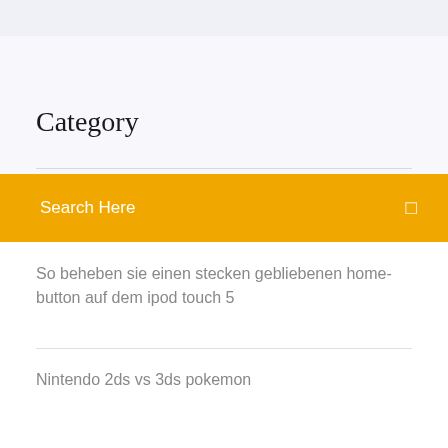Category
Search Here
So beheben sie einen stecken gebliebenen home-button auf dem ipod touch 5
Nintendo 2ds vs 3ds pokemon